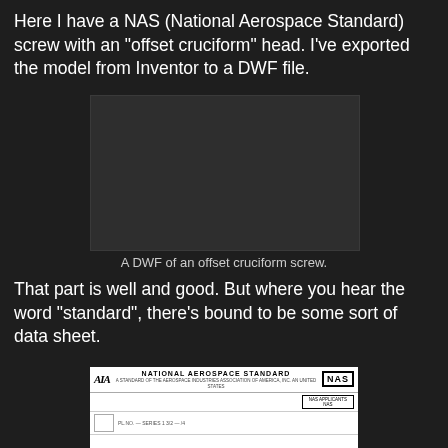Here I have a NAS (National Aerospace Standard) screw with an "offset cruciform" head.  I've exported the model from Inventor to a DWF file.
[Figure (other): Dark rectangle placeholder showing a DWF 3D model view of an offset cruciform NAS screw exported from Inventor]
A DWF of an offset cruciform screw.
That part is well and good.  But where you hear the word "standard", there's bound to be some sort of data sheet.
[Figure (other): Partial view of a National Aerospace Standard (NAS) data sheet with AIA logo on the left and NAS logo on the right]